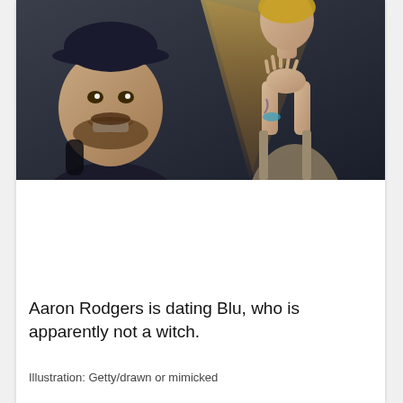[Figure (photo): Composite photo: on the left, a smiling bearded man wearing a dark baseball cap and dark jacket; on the right, a woman in a sleeveless outfit with hands pressed together in a prayer pose, with a triangular light beam in the background.]
Aaron Rodgers is dating Blu, who is apparently not a witch.
Illustration: Getty/drawn or mimicked